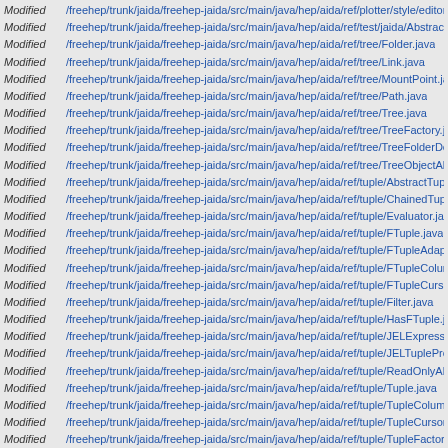Modified /freehep/trunk/jaida/freehep-jaida/src/main/java/hep/aida/ref/plotter/style/editor/StyleI...
Modified /freehep/trunk/jaida/freehep-jaida/src/main/java/hep/aida/ref/test/jaida/AbstractTestFitti...
Modified /freehep/trunk/jaida/freehep-jaida/src/main/java/hep/aida/ref/tree/Folder.java
Modified /freehep/trunk/jaida/freehep-jaida/src/main/java/hep/aida/ref/tree/Link.java
Modified /freehep/trunk/jaida/freehep-jaida/src/main/java/hep/aida/ref/tree/MountPoint.java
Modified /freehep/trunk/jaida/freehep-jaida/src/main/java/hep/aida/ref/tree/Path.java
Modified /freehep/trunk/jaida/freehep-jaida/src/main/java/hep/aida/ref/tree/Tree.java
Modified /freehep/trunk/jaida/freehep-jaida/src/main/java/hep/aida/ref/tree/TreeFactory.java
Modified /freehep/trunk/jaida/freehep-jaida/src/main/java/hep/aida/ref/tree/TreeFolderDoesNotE...
Modified /freehep/trunk/jaida/freehep-jaida/src/main/java/hep/aida/ref/tree/TreeObjectAlreadyEx...
Modified /freehep/trunk/jaida/freehep-jaida/src/main/java/hep/aida/ref/tuple/AbstractTuple.java
Modified /freehep/trunk/jaida/freehep-jaida/src/main/java/hep/aida/ref/tuple/ChainedTuple.java
Modified /freehep/trunk/jaida/freehep-jaida/src/main/java/hep/aida/ref/tuple/Evaluator.java
Modified /freehep/trunk/jaida/freehep-jaida/src/main/java/hep/aida/ref/tuple/FTuple.java
Modified /freehep/trunk/jaida/freehep-jaida/src/main/java/hep/aida/ref/tuple/FTupleAdapter.java
Modified /freehep/trunk/jaida/freehep-jaida/src/main/java/hep/aida/ref/tuple/FTupleColumn.java
Modified /freehep/trunk/jaida/freehep-jaida/src/main/java/hep/aida/ref/tuple/FTupleCursor.java
Modified /freehep/trunk/jaida/freehep-jaida/src/main/java/hep/aida/ref/tuple/Filter.java
Modified /freehep/trunk/jaida/freehep-jaida/src/main/java/hep/aida/ref/tuple/HasFTuple.java
Modified /freehep/trunk/jaida/freehep-jaida/src/main/java/hep/aida/ref/tuple/JELExpression.java
Modified /freehep/trunk/jaida/freehep-jaida/src/main/java/hep/aida/ref/tuple/JELTupleProvider.ja...
Modified /freehep/trunk/jaida/freehep-jaida/src/main/java/hep/aida/ref/tuple/ReadOnlyAbstractTu...
Modified /freehep/trunk/jaida/freehep-jaida/src/main/java/hep/aida/ref/tuple/Tuple.java
Modified /freehep/trunk/jaida/freehep-jaida/src/main/java/hep/aida/ref/tuple/TupleColumn.java
Modified /freehep/trunk/jaida/freehep-jaida/src/main/java/hep/aida/ref/tuple/TupleCursor.java
Modified /freehep/trunk/jaida/freehep-jaida/src/main/java/hep/aida/ref/tuple/TupleFactory.java
Modified /freehep/trunk/jaida/freehep-jaida/src/main/java/hep/aida/ref/xml/AIDAEntityResolver.ja...
Modified /freehep/trunk/jaida/freehep-jaida/src/main/java/hep/aida/ref/xml/AidaHandler.java
Modified /freehep/trunk/jaida/freehep-jaida/src/main/java/hep/aida/ref/xml/AidaHandlerImpl.java
Modified /freehep/trunk/jaida/freehep-jaida/src/main/java/hep/aida/ref/xml/AidaParser.java
Modified /freehep/trunk/jaida/freehep-jaida/src/main/java/hep/aida/ref/xml/AidaStyleXMLPars...